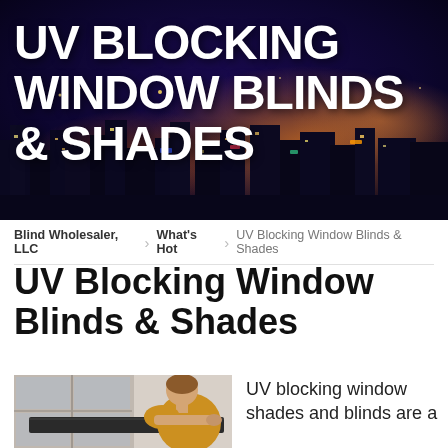[Figure (photo): Night cityscape of Las Vegas with colorful city lights and buildings, serving as hero banner background]
UV BLOCKING WINDOW BLINDS & SHADES
Blind Wholesaler, LLC > What's Hot > UV Blocking Window Blinds & Shades
UV Blocking Window Blinds & Shades
[Figure (photo): Person in yellow shirt installing or adjusting a dark window shade/blind on a window]
UV blocking window shades and blinds are a